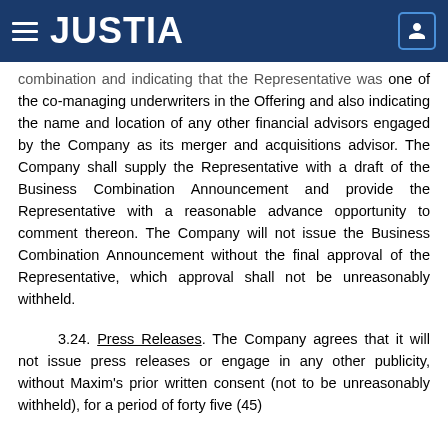JUSTIA
combination and indicating that the Representative was one of the co-managing underwriters in the Offering and also indicating the name and location of any other financial advisors engaged by the Company as its merger and acquisitions advisor. The Company shall supply the Representative with a draft of the Business Combination Announcement and provide the Representative with a reasonable advance opportunity to comment thereon. The Company will not issue the Business Combination Announcement without the final approval of the Representative, which approval shall not be unreasonably withheld.
3.24. Press Releases. The Company agrees that it will not issue press releases or engage in any other publicity, without Maxim's prior written consent (not to be unreasonably withheld), for a period of forty five (45)